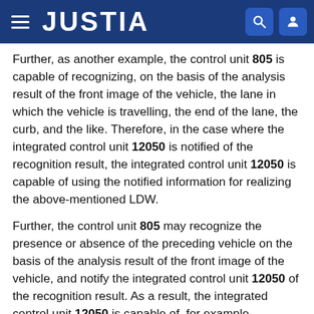JUSTIA
Further, as another example, the control unit 805 is capable of recognizing, on the basis of the analysis result of the front image of the vehicle, the lane in which the vehicle is travelling, the end of the lane, the curb, and the like. Therefore, in the case where the integrated control unit 12050 is notified of the recognition result, the integrated control unit 12050 is capable of using the notified information for realizing the above-mentioned LDW.
Further, the control unit 805 may recognize the presence or absence of the preceding vehicle on the basis of the analysis result of the front image of the vehicle, and notify the integrated control unit 12050 of the recognition result. As a result, the integrated control unit 12050 is capable of, for example, controlling the vehicle speed in accordance with the presence or